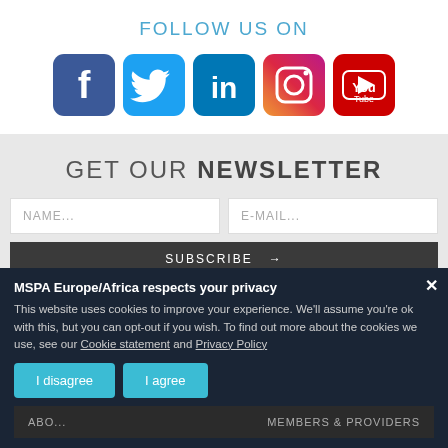FOLLOW US ON
[Figure (illustration): Five social media icons in a row: Facebook (blue rounded square), Twitter (light blue rounded square), LinkedIn (blue rounded square), Instagram (gradient rounded square), YouTube (red rounded square)]
GET OUR NEWSLETTER
NAME...
E-MAIL...
SUBSCRIBE →
MSPA Europe/Africa respects your privacy
This website uses cookies to improve your experience. We'll assume you're ok with this, but you can opt-out if you wish. To find out more about the cookies we use, see our Cookie statement and Privacy Policy
I disagree
I agree
ABOUT
MEMBERS & PROVIDERS